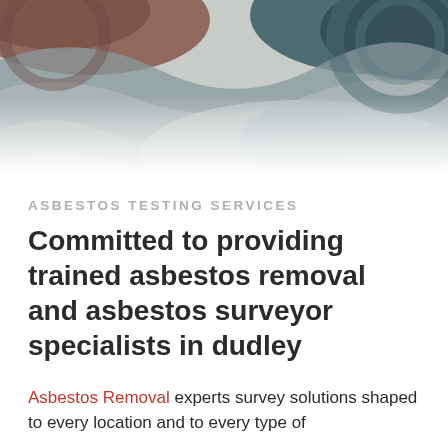[Figure (illustration): Decorative header banner with abstract wave/swirl pattern in muted brown, grey, teal, and dark teal tones, partially cut off at the top.]
ASBESTOS TESTING SERVICES
Committed to providing trained asbestos removal and asbestos surveyor specialists in dudley
Asbestos Removal experts survey solutions shaped to every location and to every type of